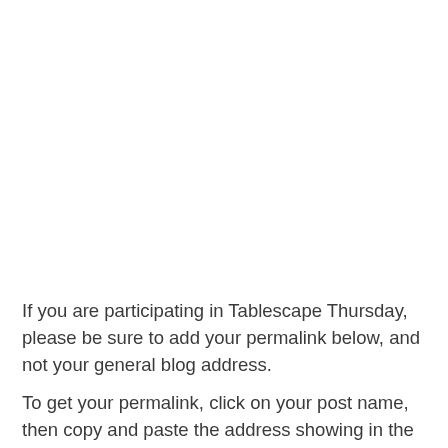If you are participating in Tablescape Thursday, please be sure to add your permalink below, and not your general blog address.
To get your permalink, click on your post name, then copy and paste the address showing in the address bar, into the "url" box when you link up. You'll need to include a link in your post back to the party to link up and participate.